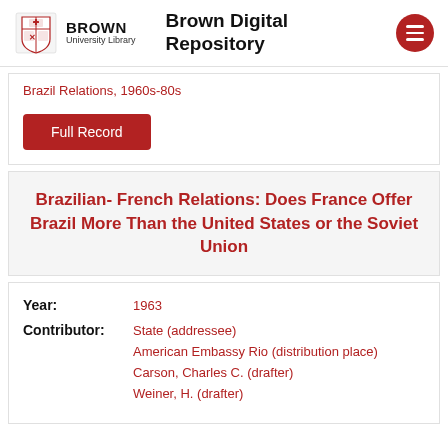Brown University Library — Brown Digital Repository
Brazil Relations, 1960s-80s
Full Record
Brazilian- French Relations: Does France Offer Brazil More Than the United States or the Soviet Union
Year: 1963
Contributor: State (addressee) | American Embassy Rio (distribution place) | Carson, Charles C. (drafter) | Weiner, H. (drafter)